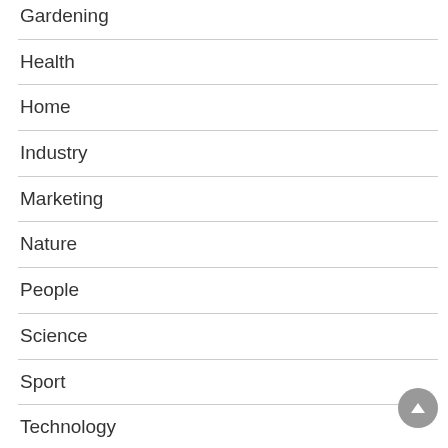Gardening
Health
Home
Industry
Marketing
Nature
People
Science
Sport
Technology
Transport
Uncategorized